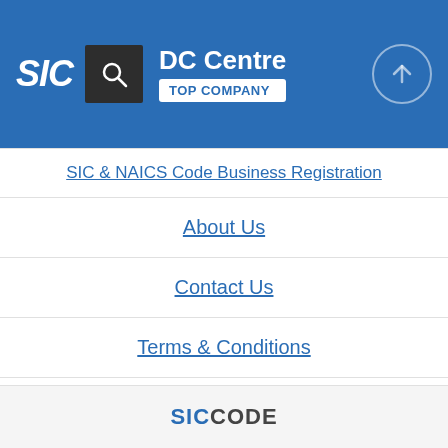DC Centre TOP COMPANY
SIC & NAICS Code Business Registration
About Us
Contact Us
Terms & Conditions
Privacy Policy
Blog
SICCODE